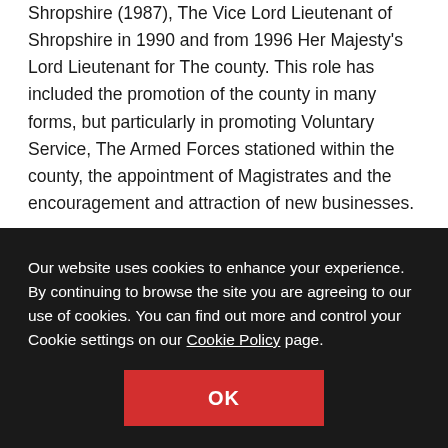Shropshire (1987), The Vice Lord Lieutenant of Shropshire in 1990 and from 1996 Her Majesty's Lord Lieutenant for The county. This role has included the promotion of the county in many forms, but particularly in promoting Voluntary Service, The Armed Forces stationed within the county, the appointment of Magistrates and the encouragement and attraction of new businesses.
Our website uses cookies to enhance your experience. By continuing to browse the site you are agreeing to our use of cookies. You can find out more and control your Cookie settings on our Cookie Policy page.